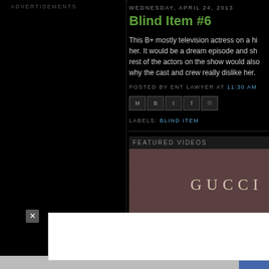ADVERTISEMENTS
WEDNESDAY, APRIL 24, 2013
Blind Item #6
This B+ mostly television actress on a hi... her. It would be a dream episode and sh... rest of the actors on the show would also... why the cast and crew really dislike her.
POSTED BY ENT LAWYER AT 11:30 AM
[Figure (screenshot): Social share buttons: email, blogger, twitter, facebook, pinterest]
LABELS: BLIND ITEM
FEATURED VIDEOS
[Figure (photo): Gucci advertisement banner with brown background and text GUCCI]